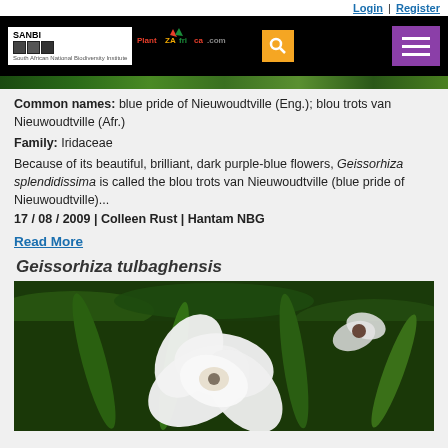Login | Register
[Figure (screenshot): SANBI and PlantZAfrica.com navigation bar with search and menu buttons]
[Figure (photo): Partial green plant/foliage image strip]
Common names: blue pride of Nieuwoudtville (Eng.); blou trots van Nieuwoudtville (Afr.)
Family: Iridaceae
Because of its beautiful, brilliant, dark purple-blue flowers, Geissorhiza splendidissima is called the blou trots van Nieuwoudtville (blue pride of Nieuwoudtville)...
17 / 08 / 2009 | Colleen Rust | Hantam NBG
Read More
Geissorhiza tulbaghensis
[Figure (photo): White flower (Geissorhiza tulbaghensis) with green foliage background]